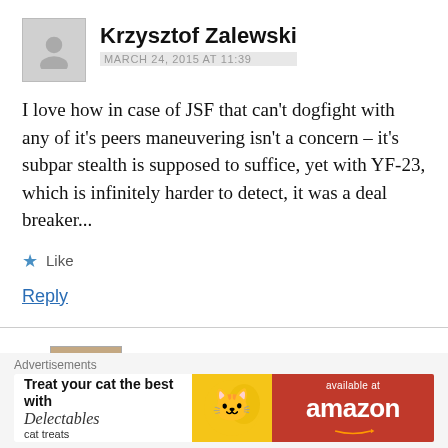Krzysztof Zalewski
MARCH 24, 2015 AT 11:39
I love how in case of JSF that can't dogfight with any of it's peers maneuvering isn't a concern – it's subpar stealth is supposed to suffice, yet with YF-23, which is infinitely harder to detect, it was a deal breaker...
★ Like
Reply
Ian D'Costa
MARCH 24, 2015 AT 11:42
Advertisements
[Figure (other): Delectables cat treats advertisement banner with Amazon logo]